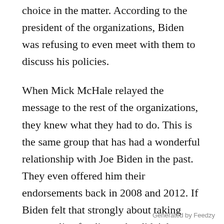choice in the matter. According to the president of the organizations, Biden was refusing to even meet with them to discuss his policies.
When Mick McHale relayed the message to the rest of the organizations, they knew what they had to do. This is the same group that has had a wonderful relationship with Joe Biden in the past. They even offered him their endorsements back in 2008 and 2012. If Biden felt that strongly about taking away police funding, why didn't he say something to this group back then?
YUGE: National Association of Police Organizations endorses Trump, "We
Generated by Feedzy